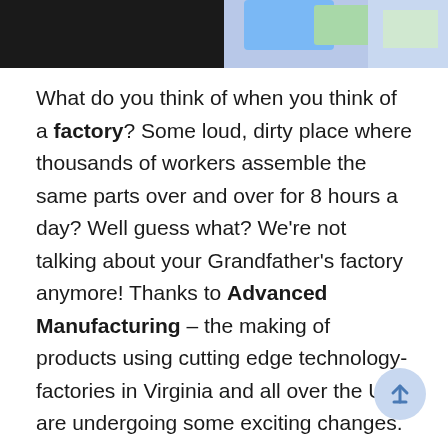[Figure (photo): Top banner with two images side by side: left side shows a dark/black photo, right side shows a light blue illustrated image with colored shapes]
What do you think of when you think of a factory? Some loud, dirty place where thousands of workers assemble the same parts over and over for 8 hours a day? Well guess what? We're not talking about your Grandfather's factory anymore! Thanks to Advanced Manufacturing – the making of products using cutting edge technology- factories in Virginia and all over the US are undergoing some exciting changes. Today's high tech work environments are bright, relatively quiet factories that are almost as sterile as a medical lab. In factories like the Rolls-Royce Crosspointe factory in Prince George, Virginia, Chemists, Engineers, Welders, Information Technology Specialists and Logisticians work together to produce and deliver products of the